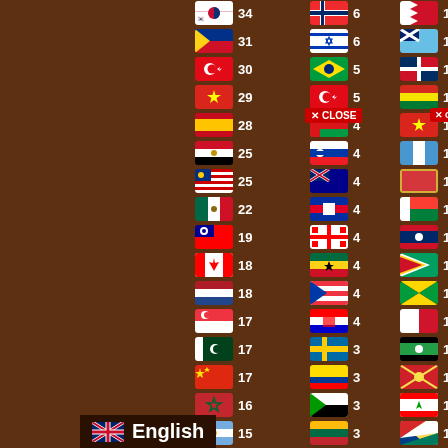[Figure (infographic): Country flags ranking list with flag icons and numeric counts in three columns on a brown background. Column 1 shows flags with counts 34, 31, 30, 29, 28, 25, 25, 22, 19, 18, 18, 17, 17, 17, 16, 15, 15. Column 2 shows flags with counts 6, 6, 5, 5, 4, 4, 4, 4, 4, 4, 4, 4, 3, 3, 3, 3, 3. Column 3 shows flags with counts all 1 repeated many times. A CLOSE button overlay is visible. An English language selector is shown at the bottom.]